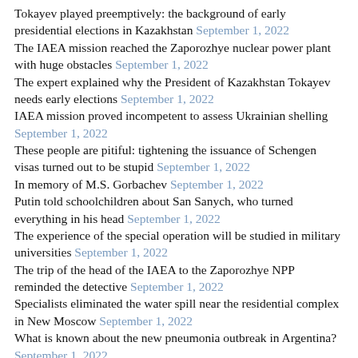Tokayev played preemptively: the background of early presidential elections in Kazakhstan September 1, 2022
The IAEA mission reached the Zaporozhye nuclear power plant with huge obstacles September 1, 2022
The expert explained why the President of Kazakhstan Tokayev needs early elections September 1, 2022
IAEA mission proved incompetent to assess Ukrainian shelling September 1, 2022
These people are pitiful: tightening the issuance of Schengen visas turned out to be stupid September 1, 2022
In memory of M.S. Gorbachev September 1, 2022
Putin told schoolchildren about San Sanych, who turned everything in his head September 1, 2022
The experience of the special operation will be studied in military universities September 1, 2022
The trip of the head of the IAEA to the Zaporozhye NPP reminded the detective September 1, 2022
Specialists eliminated the water spill near the residential complex in New Moscow September 1, 2022
What is known about the new pneumonia outbreak in Argentina? September 1, 2022
Zelensky will not remove Zaluzhny after the failure of the